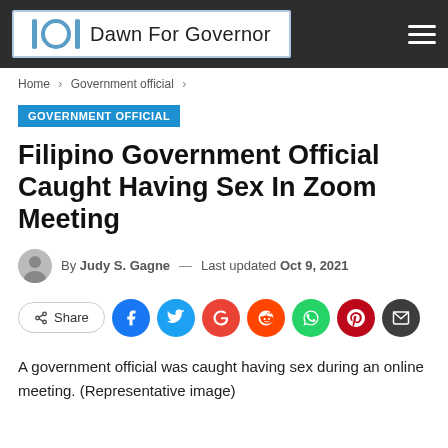Dawn For Governor
Home > Government official >
GOVERNMENT OFFICIAL
Filipino Government Official Caught Having Sex In Zoom Meeting
By Judy S. Gagne — Last updated Oct 9, 2021
Share
A government official was caught having sex during an online meeting. (Representative image)